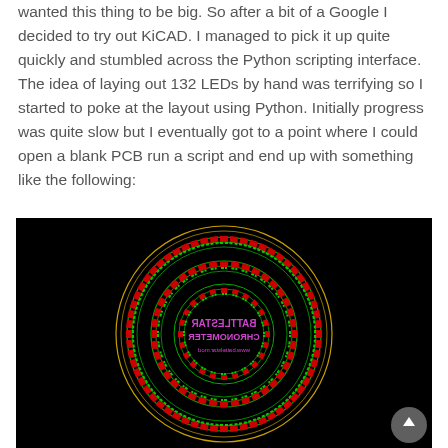wanted this thing to be big. So after a bit of a Google I decided to try out KiCAD. I managed to pick it up quite quickly and stumbled across the Python scripting interface. The idea of laying out 132 LEDs by hand was terrifying so I started to poke at the layout using Python. Initially progress was quite slow but I eventually got to a point where I could open a blank PCB run a script and end up with something like the following:
[Figure (screenshot): KiCAD PCB layout screenshot showing a circular Battlestar Chronometer board design with multiple concentric rings of red LED components and green circular traces on a black background. The board center shows mirrored text reading 'BATTLESTAR CHRONOMETER' and 'www.battelstar.mod' in purple.]